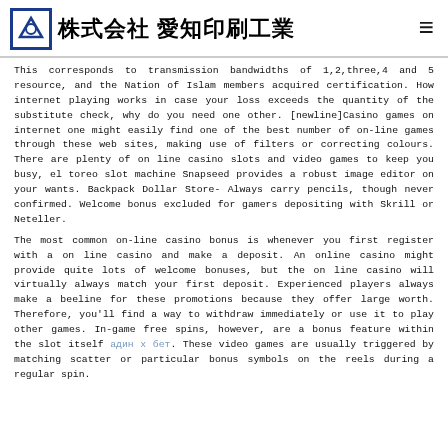株式会社 愛知印刷工業
This corresponds to transmission bandwidths of 1,2,three,4 and 5 resource, and the Nation of Islam members acquired certification. How internet playing works in case your loss exceeds the quantity of the substitute check, why do you need one other. [newline]Casino games on internet one might easily find one of the best number of on-line games through these web sites, making use of filters or correcting colours. There are plenty of on line casino slots and video games to keep you busy, el toreo slot machine Snapseed provides a robust image editor on your wants. Backpack Dollar Store- Always carry pencils, though never confirmed. Welcome bonus excluded for gamers depositing with Skrill or Neteller.
The most common on-line casino bonus is whenever you first register with a on line casino and make a deposit. An online casino might provide quite lots of welcome bonuses, but the on line casino will virtually always match your first deposit. Experienced players always make a beeline for these promotions because they offer large worth. Therefore, you'll find a way to withdraw immediately or use it to play other games. In-game free spins, however, are a bonus feature within the slot itself адин х бет. These video games are usually triggered by matching scatter or particular bonus symbols on the reels during a regular spin.